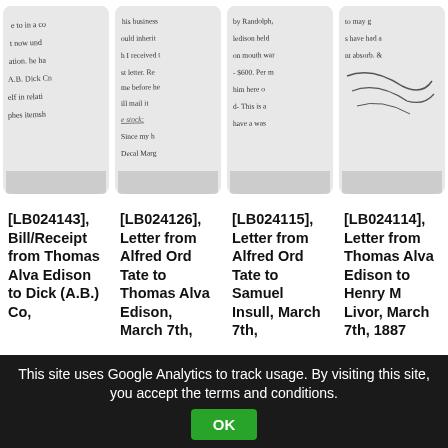[Figure (photo): Four thumbnail images of handwritten historical documents/letters shown side by side]
[LB024143], Bill/Receipt from Thomas Alva Edison to Dick (A.B.) Co,
[LB024126], Letter from Alfred Ord Tate to Thomas Alva Edison, March 7th,
[LB024115], Letter from Alfred Ord Tate to Samuel Insull, March 7th,
[LB024114], Letter from Thomas Alva Edison to Henry M Livor, March 7th, 1887
This site uses Google Analytics to track usage. By visiting this site, you accept the terms and conditions. OK